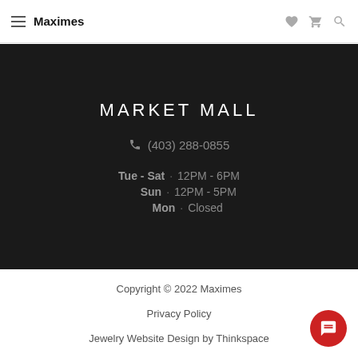Maximes
MARKET MALL
(403) 288-0855
Tue - Sat · 12PM - 6PM
Sun · 12PM - 5PM
Mon · Closed
Copyright © 2022 Maximes
Privacy Policy
Jewelry Website Design by Thinkspace